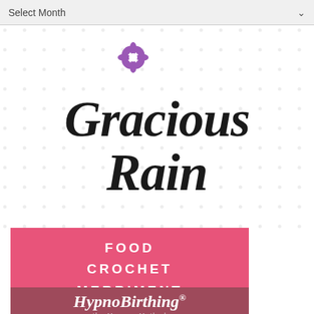Select Month
[Figure (logo): Gracious Rain logo with purple flower icon and script text 'Gracious Rain' with subtitle 'FOOD CROCHET MERRIMENT' on pink banner, on dotted background]
[Figure (logo): HypnoBirthing the Mongan Method logo on dark rose/mauve background]